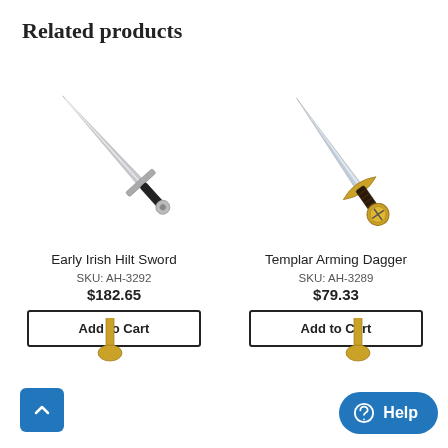Related products
[Figure (photo): Early Irish Hilt Sword product image — a long silver medieval sword angled diagonally]
Early Irish Hilt Sword
SKU: AH-3292
$182.65
Add to Cart
[Figure (photo): Templar Arming Dagger product image — a dagger with a golden cross hilt angled diagonally]
Templar Arming Dagger
SKU: AH-3289
$79.33
Add to Cart
[Figure (photo): Partial view of a third sword product at the bottom left]
[Figure (photo): Partial view of a fourth sword product at the bottom right]
[Figure (other): Scroll-to-top blue button with upward arrow at bottom left]
[Figure (other): Blue Help chat button at bottom right]